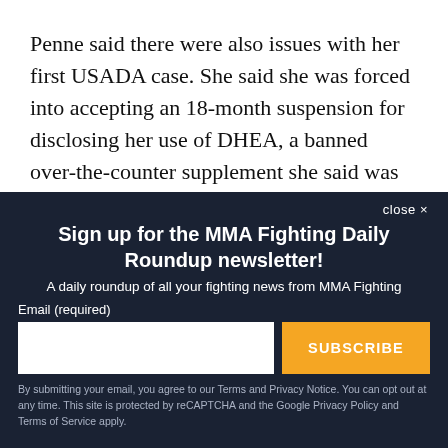Penne said there were also issues with her first USADA case. She said she was forced into accepting an 18-month suspension for disclosing her use of DHEA, a banned over-the-counter supplement she said was recommended by her
close ✕
Sign up for the MMA Fighting Daily Roundup newsletter!
A daily roundup of all your fighting news from MMA Fighting
Email (required)
SUBSCRIBE
By submitting your email, you agree to our Terms and Privacy Notice. You can opt out at any time. This site is protected by reCAPTCHA and the Google Privacy Policy and Terms of Service apply.